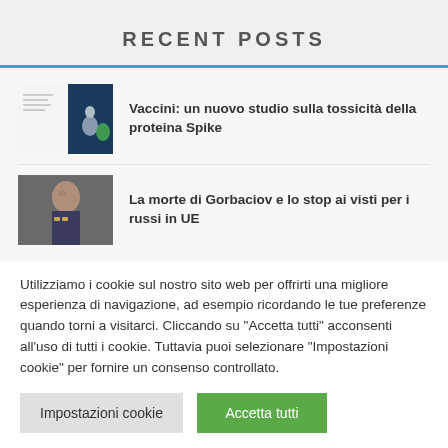RECENT POSTS
Vaccini: un nuovo studio sulla tossicità della proteina Spike
La morte di Gorbaciov e lo stop ai visti per i russi in UE
Utilizziamo i cookie sul nostro sito web per offrirti una migliore esperienza di navigazione, ad esempio ricordando le tue preferenze quando torni a visitarci. Cliccando su "Accetta tutti" acconsenti all'uso di tutti i cookie. Tuttavia puoi selezionare "Impostazioni cookie" per fornire un consenso controllato.
Impostazioni cookie
Accetta tutti